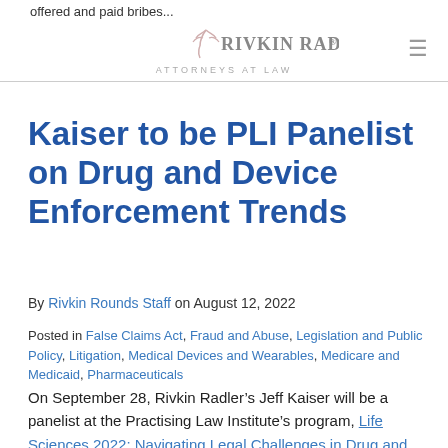offered and paid bribes...
RIVKIN RADLER ATTORNEYS AT LAW
Kaiser to be PLI Panelist on Drug and Device Enforcement Trends
By Rivkin Rounds Staff on August 12, 2022
Posted in False Claims Act, Fraud and Abuse, Legislation and Public Policy, Litigation, Medical Devices and Wearables, Medicare and Medicaid, Pharmaceuticals
On September 28, Rivkin Radler’s Jeff Kaiser will be a panelist at the Practising Law Institute’s program, Life Sciences 2022: Navigating Legal Challenges in Drug and Device Industries. The program is designed for attorneys and allied professionals who counsel pharmaceutical, biopharmaceutical, life sciences companies and